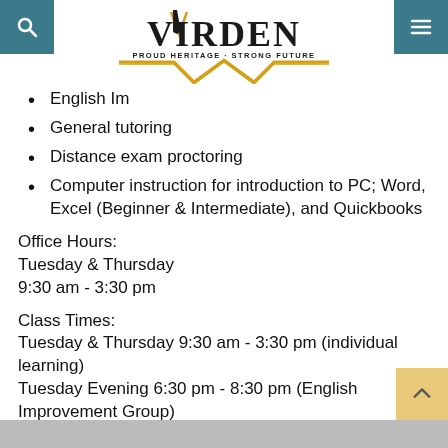[Figure (logo): Virden logo with tagline 'PROUD HERITAGE · STRONG FUTURE', black serif font with gold/yellow chevron border]
English Im[provement]
General tutoring
Distance exam proctoring
Computer instruction for introduction to PC; Word, Excel (Beginner & Intermediate), and Quickbooks
Office Hours:
Tuesday & Thursday
9:30 am - 3:30 pm
Class Times:
Tuesday & Thursday 9:30 am - 3:30 pm (individual learning)
Tuesday Evening 6:30 pm - 8:30 pm (English Improvement Group)